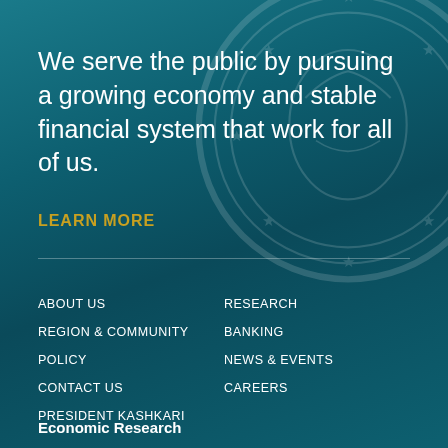We serve the public by pursuing a growing economy and stable financial system that work for all of us.
LEARN MORE
ABOUT US
REGION & COMMUNITY
POLICY
CONTACT US
PRESIDENT KASHKARI
RESEARCH
BANKING
NEWS & EVENTS
CAREERS
Economic Research